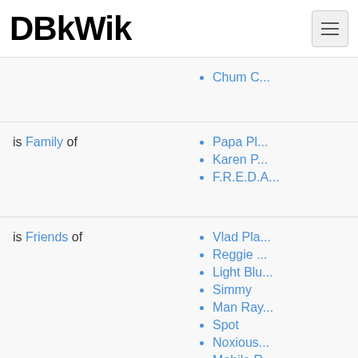DBkWik
Chum C...
is Family of
Papa Pl...
Karen P...
F.R.E.D.A...
is Friends of
Vlad Pla...
Reggie ...
Light Blu...
Simmy
Man Ray...
Spot
Noxious...
Mobile R...
PlanktoB...
Karen 2
Whale C...
Chum W...
Comic R...
Purple C...